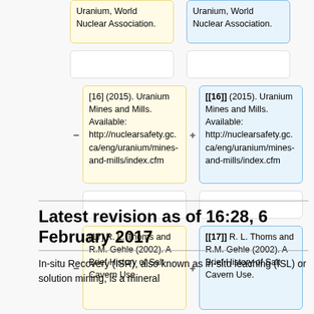[top row partial] Uranium, World Nuclear Association.
[empty cells row]
[16] (2015). Uranium Mines and Mills. Available: http://nuclearsafety.gc.ca/eng/uranium/mines-and-mills/index.cfm
[[16]] (2015). Uranium Mines and Mills. Available: http://nuclearsafety.gc.ca/eng/uranium/mines-and-mills/index.cfm
[empty cells row]
[17] R. L. Thoms and R.M. Gehle (2002). A Brief History of Salt Cavern Use.
[[17]] R. L. Thoms and R.M. Gehle (2002). A Brief History of Salt Cavern Use.
Latest revision as of 16:28, 6 February 2017
In-situ Recovery (ISR), also known as in-situ leaching (ISL) or solution mining, is a mineral